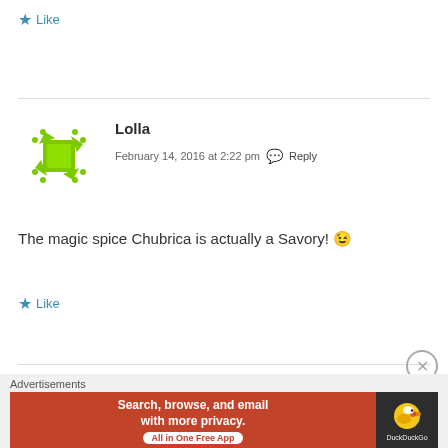★ Like
Lolla
February 14, 2016 at 2:22 pm  💬 Reply
The magic spice Chubrica is actually a Savory! 😉
★ Like
Advertisements
[Figure (illustration): DuckDuckGo advertisement banner: orange section with text 'Search, browse, and email with more privacy. All in One Free App' and dark section with DuckDuckGo duck logo and brand name.]